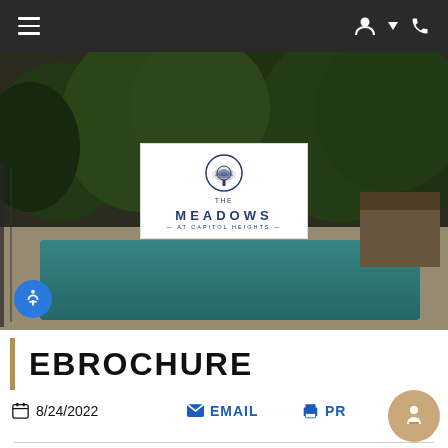Navigation bar with hamburger menu and icons
[Figure (photo): Outdoor swimming pool with green trees in background and a white logo box for 'The Meadows at Capitol Heights' centered over the image]
EBROCHURE
8/24/2022   EMAIL   PRINT